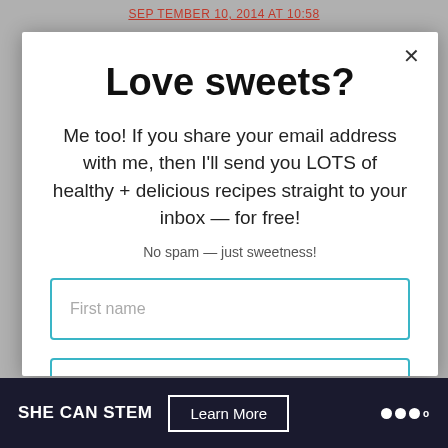SEPTEMBER 10, 2014 AT 10:58
Love sweets?
Me too! If you share your email address with me, then I'll send you LOTS of healthy + delicious recipes straight to your inbox — for free!
No spam — just sweetness!
First name
Email address
SHE CAN STEM  Learn More